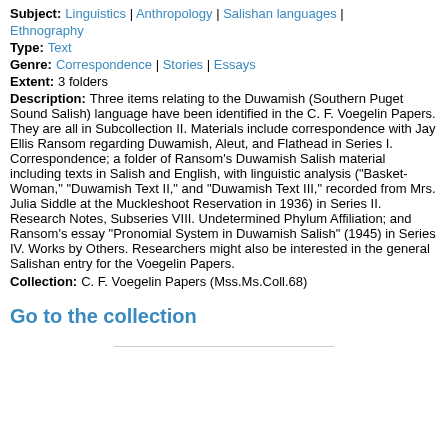Subject: Linguistics | Anthropology | Salishan languages | Ethnography
Type: Text
Genre: Correspondence | Stories | Essays
Extent: 3 folders
Description: Three items relating to the Duwamish (Southern Puget Sound Salish) language have been identified in the C. F. Voegelin Papers. They are all in Subcollection II. Materials include correspondence with Jay Ellis Ransom regarding Duwamish, Aleut, and Flathead in Series I. Correspondence; a folder of Ransom's Duwamish Salish material including texts in Salish and English, with linguistic analysis ("Basket-Woman," "Duwamish Text II," and "Duwamish Text III," recorded from Mrs. Julia Siddle at the Muckleshoot Reservation in 1936) in Series II. Research Notes, Subseries VIII. Undetermined Phylum Affiliation; and Ransom's essay "Pronomial System in Duwamish Salish" (1945) in Series IV. Works by Others. Researchers might also be interested in the general Salishan entry for the Voegelin Papers.
Collection: C. F. Voegelin Papers (Mss.Ms.Coll.68)
Go to the collection